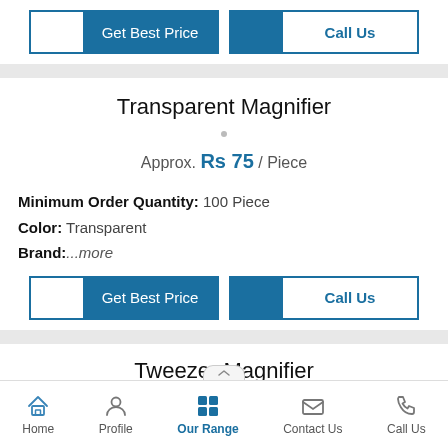[Figure (screenshot): Get Best Price and Call Us buttons row (top)]
Transparent Magnifier
Approx. Rs 75 / Piece
Minimum Order Quantity: 100 Piece
Color: Transparent
Brand:...more
[Figure (screenshot): Get Best Price and Call Us buttons row (bottom)]
Tweezer Magnifier
Home  Profile  Our Range  Contact Us  Call Us